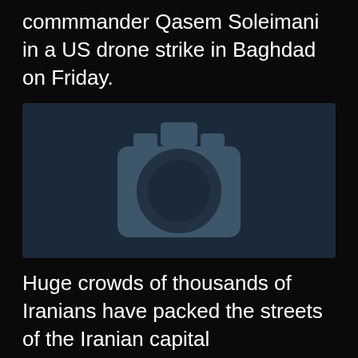commmander Qasem Soleimani in a US drone strike in Baghdad on Friday.
[Figure (photo): Image placeholder with a camera icon on a dark blue background, indicating a photo that could not be loaded.]
Huge crowds of thousands of Iranians have packed the streets of the Iranian capital
Navigation bar with search, menu, and audio icons